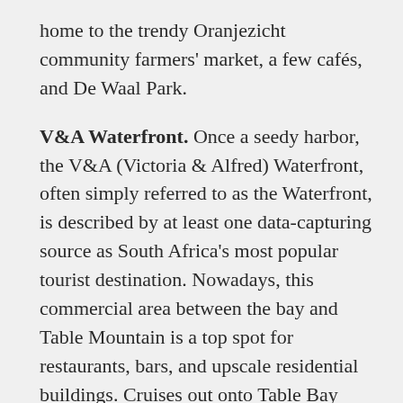home to the trendy Oranjezicht community farmers' market, a few cafés, and De Waal Park.
V&A Waterfront. Once a seedy harbor, the V&A (Victoria & Alfred) Waterfront, often simply referred to as the Waterfront, is described by at least one data-capturing source as South Africa's most popular tourist destination. Nowadays, this commercial area between the bay and Table Mountain is a top spot for restaurants, bars, and upscale residential buildings. Cruises out onto Table Bay depart from here.
Green Point. The gay hot spot is home to the iconic Cape Town stadium and the neighboring Green Point Common.